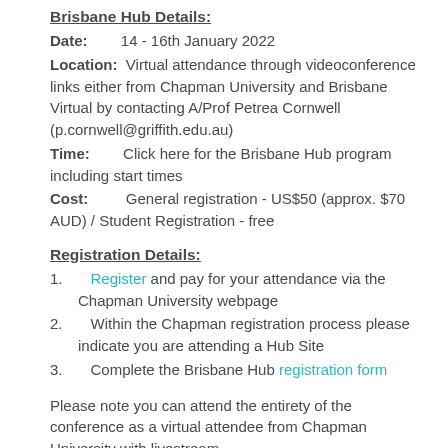Brisbane Hub Details:
Date:       14 - 16th January 2022
Location:  Virtual attendance through videoconference links either from Chapman University and Brisbane Virtual by contacting A/Prof Petrea Cornwell (p.cornwell@griffith.edu.au)
Time:       Click here for the Brisbane Hub program including start times
Cost:        General registration - US$50 (approx. $70 AUD) / Student Registration - free
Registration Details:
1.   Register and pay for your attendance via the Chapman University webpage
2.   Within the Chapman registration process please indicate you are attending a Hub Site
3.   Complete the Brisbane Hub registration form
Please note you can attend the entirety of the conference as a virtual attendee from Chapman University with livestream